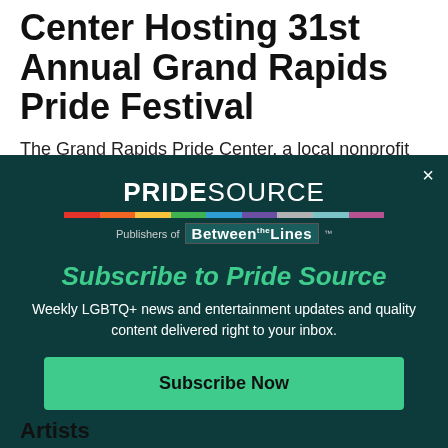Grand Rapids Pride Center Hosting 31st Annual Grand Rapids Pride Festival
The Grand Rapids Pride Center, a local nonprofit organization that empowers the West Michigan
[Figure (other): Pride Source newsletter subscription modal popup with logo, rainbow bar, 'Publishers of Between The Lines' tagline, 'Subscribe to Pride Source' heading, subscription description text, and a 'Subscribe Now' button. Modal has a dark teal background (#0d3b3b) with close (×) button in top right.]
Artists